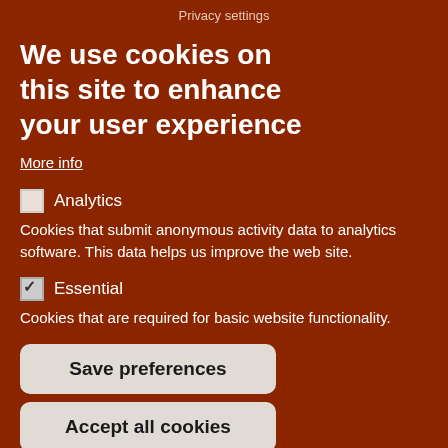Privacy settings
We use cookies on this site to enhance your user experience
More info
☐ Analytics
Cookies that submit anonymous activity data to analytics software. This data helps us improve the web site.
☑ Essential
Cookies that are required for basic website functionality.
Save preferences
Accept all cookies